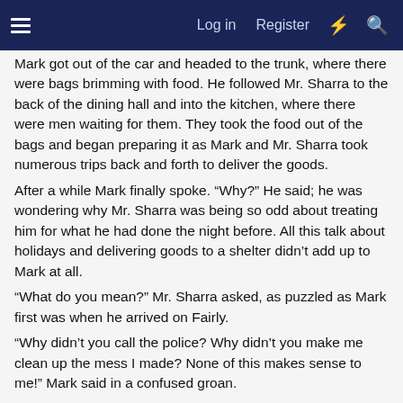Log in  Register
Mark got out of the car and headed to the trunk, where there were bags brimming with food. He followed Mr. Sharra to the back of the dining hall and into the kitchen, where there were men waiting for them. They took the food out of the bags and began preparing it as Mark and Mr. Sharra took numerous trips back and forth to deliver the goods.
After a while Mark finally spoke. “Why?” He said; he was wondering why Mr. Sharra was being so odd about treating him for what he had done the night before. All this talk about holidays and delivering goods to a shelter didn’t add up to Mark at all.
“What do you mean?” Mr. Sharra asked, as puzzled as Mark first was when he arrived on Fairly.
“Why didn’t you call the police? Why didn’t you make me clean up the mess I made? None of this makes sense to me!” Mark said in a confused groan.
Mr. Sharra laughed once again. Mark thought he was enjoying this too much. “You must not have been paying attention in the